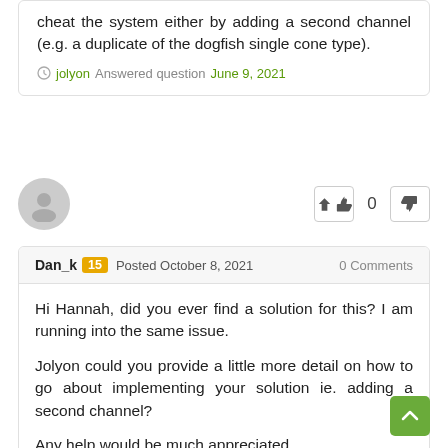cheat the system either by adding a second channel (e.g. a duplicate of the dogfish single cone type).
jolyon Answered question June 9, 2021
[Figure (other): User avatar placeholder (grey circle with person silhouette) and vote buttons showing thumbs up, 0, thumbs down]
Dan_k 15 Posted October 8, 2021  0 Comments
Hi Hannah, did you ever find a solution for this? I am running into the same issue.

Jolyon could you provide a little more detail on how to go about implementing your solution ie. adding a second channel?

Any help would be much appreciated.
Dan_k Answered question October 8, 2021